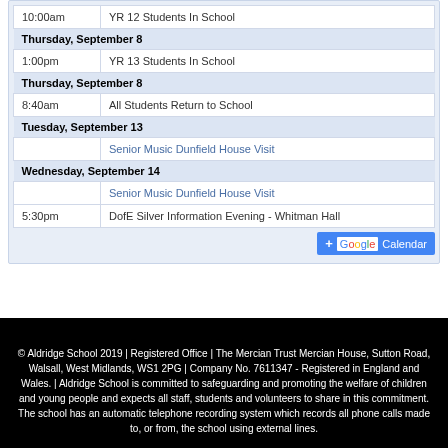| Time | Event |
| --- | --- |
| 10:00am | YR 12 Students In School |
| Thursday, September 8 |  |
| 1:00pm | YR 13 Students In School |
| Thursday, September 8 |  |
| 8:40am | All Students Return to School |
| Tuesday, September 13 |  |
|  | Senior Music Dunfield House Visit |
| Wednesday, September 14 |  |
|  | Senior Music Dunfield House Visit |
| 5:30pm | DofE Silver Information Evening - Whitman Hall |
[Figure (logo): Google Calendar add button]
© Aldridge School 2019 | Registered Office | The Mercian Trust Mercian House, Sutton Road, Walsall, West Midlands, WS1 2PG | Company No. 7611347 - Registered in England and Wales. | Aldridge School is committed to safeguarding and promoting the welfare of children and young people and expects all staff, students and volunteers to share in this commitment. The school has an automatic telephone recording system which records all phone calls made to, or from, the school using external lines.